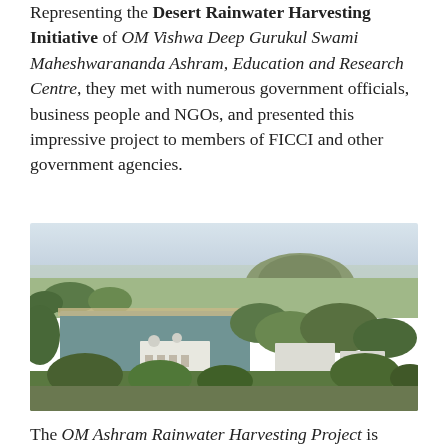Representing the Desert Rainwater Harvesting Initiative of OM Vishwa Deep Gurukul Swami Maheshwarananda Ashram, Education and Research Centre, they met with numerous government officials, business people and NGOs, and presented this impressive project to members of FICCI and other government agencies.
[Figure (photo): Aerial photograph of the OM Ashram Rainwater Harvesting Project showing a large rectangular reservoir/lake surrounded by trees and buildings, with a hill in the background and flat agricultural land extending to the horizon.]
The OM Ashram Rainwater Harvesting Project is indeed a large project for a single NGO; at 150 metres in length